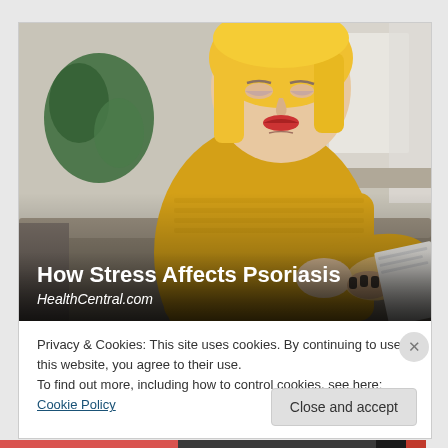[Figure (photo): A blonde woman in a yellow knit sweater sitting on a grey couch, looking down and examining/scratching her elbow, appearing concerned. Background shows a home interior with plants.]
How Stress Affects Psoriasis
HealthCentral.com
Privacy & Cookies: This site uses cookies. By continuing to use this website, you agree to their use.
To find out more, including how to control cookies, see here: Cookie Policy